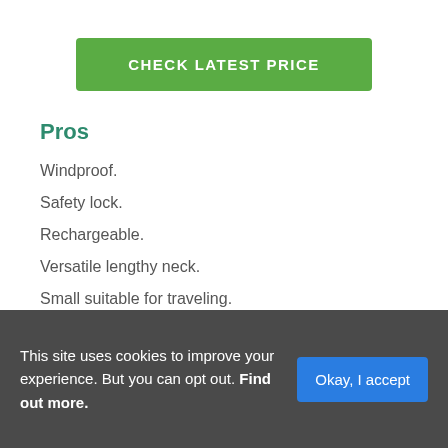[Figure (other): Green button labeled CHECK LATEST PRICE]
Pros
Windproof.
Safety lock.
Rechargeable.
Versatile lengthy neck.
Small suitable for traveling.
Cons
This site uses cookies to improve your experience. But you can opt out. Find out more.